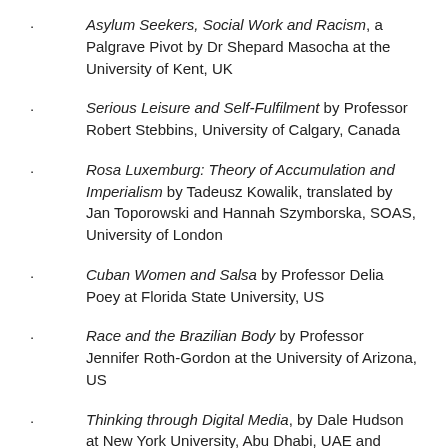Asylum Seekers, Social Work and Racism, a Palgrave Pivot by Dr Shepard Masocha at the University of Kent, UK
Serious Leisure and Self-Fulfilment by Professor Robert Stebbins, University of Calgary, Canada
Rosa Luxemburg: Theory of Accumulation and Imperialism by Tadeusz Kowalik, translated by Jan Toporowski and Hannah Szymborska, SOAS, University of London
Cuban Women and Salsa by Professor Delia Poey at Florida State University, US
Race and the Brazilian Body by Professor Jennifer Roth-Gordon at the University of Arizona, US
Thinking through Digital Media, by Dale Hudson at New York University, Abu Dhabi, UAE and Professor Patricia